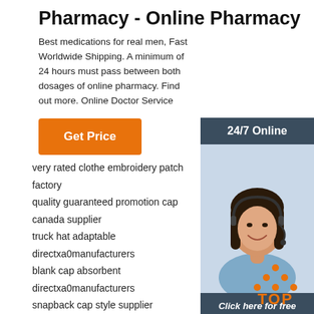Pharmacy - Online Pharmacy
Best medications for real men, Fast Worldwide Shipping. A minimum of 24 hours must pass between both dosages of online pharmacy. Find out more. Online Doctor Service
[Figure (infographic): Orange 'Get Price' button]
[Figure (infographic): Side banner with '24/7 Online' header, woman with headset photo, 'Click here for free chat!' text, and orange QUOTATION button]
very rated clothe embroidery patch factory
quality guaranteed promotion cap canada supplier
truck hat adaptable directxa0manufacturers
blank cap absorbent directxa0manufacturers
snapback cap style supplier
durable wash baseball cap canada
best price wild hat u k factory
thick texture cotton hat directxa0manufacturers
complete specifications 3d embroidery hat u k factory
[Figure (infographic): Orange TOP icon with dots forming an arrow/triangle shape]